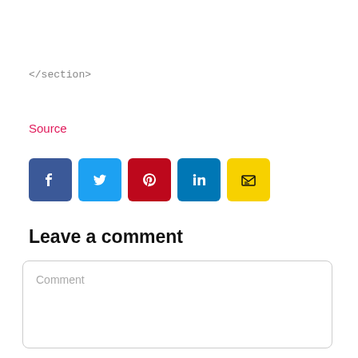</section>
Source
[Figure (other): Row of social media share buttons: Facebook (dark blue), Twitter (light blue), Pinterest (red), LinkedIn (dark blue), Email (yellow)]
Leave a comment
Comment